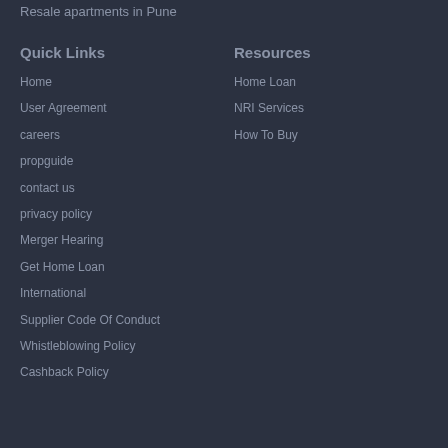Resale apartments in Pune
Quick Links
Home
User Agreement
careers
propguide
contact us
privacy policy
Merger Hearing
Get Home Loan
International
Supplier Code Of Conduct
Whistleblowing Policy
Cashback Policy
Resources
Home Loan
NRI Services
How To Buy